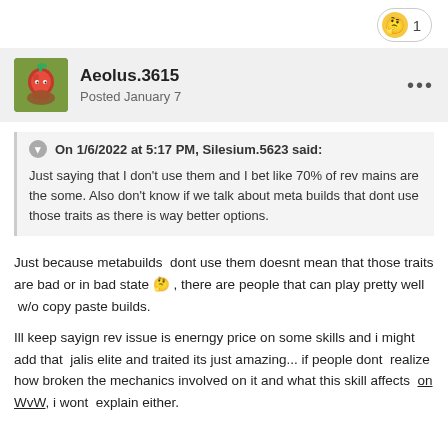[Figure (other): Reaction pill with emoji icon and number 1]
Aeolus.3615
Posted January 7
On 1/6/2022 at 5:17 PM, Silesium.5623 said:
Just saying that I don't use them and I bet like 70% of rev mains are the some. Also don't know if we talk about meta builds that dont use those traits as there is way better options.
Just because metabuilds  dont use them doesnt mean that those traits are bad or in bad state 🤔 , there are people that can play pretty well  w/o copy paste builds.
Ill keep sayign rev issue is enerngy price on some skills and i might add that  jalis elite and traited its just amazing... if people dont  realize how broken the mechanics involved on it and what this skill affects  on WvW, i wont  explain either.